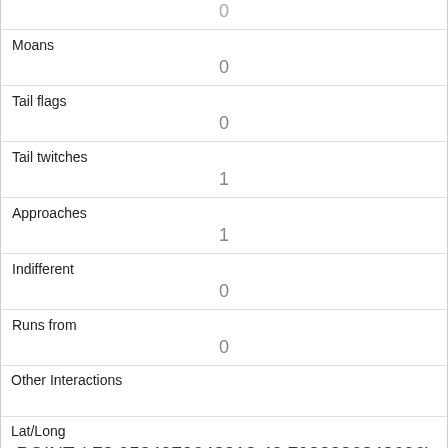|  | 0 |
| Moans | 0 |
| Tail flags | 0 |
| Tail twitches | 1 |
| Approaches | 1 |
| Indifferent | 0 |
| Runs from | 0 |
| Other Interactions |  |
| Lat/Long | POINT (-73.9584970643213 40.7982886348696) |
| Link | 54 |
| rowid |  |